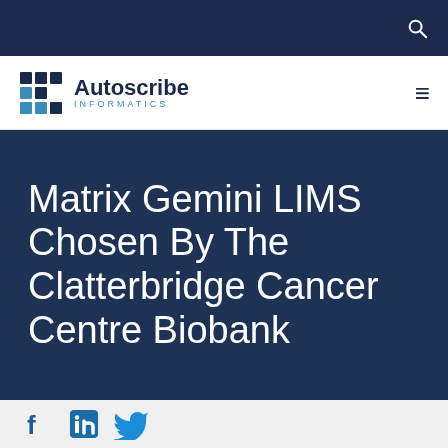Autoscribe Informatics
Matrix Gemini LIMS Chosen By The Clatterbridge Cancer Centre Biobank
[Figure (other): Social media icons: Facebook, LinkedIn, Twitter]